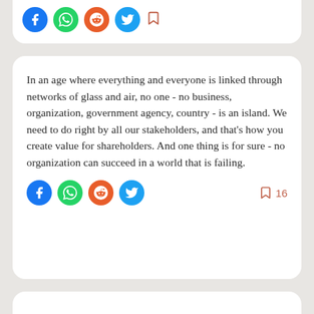[Figure (screenshot): Top partial card showing social share buttons (Facebook, WhatsApp, Reddit, Twitter) and a bookmark icon, cropped at top of page.]
In an age where everything and everyone is linked through networks of glass and air, no one - no business, organization, government agency, country - is an island. We need to do right by all our stakeholders, and that's how you create value for shareholders. And one thing is for sure - no organization can succeed in a world that is failing.
[Figure (screenshot): Social share buttons row: Facebook (blue), WhatsApp (green), Reddit (orange), Twitter (blue), and bookmark icon with count 16.]